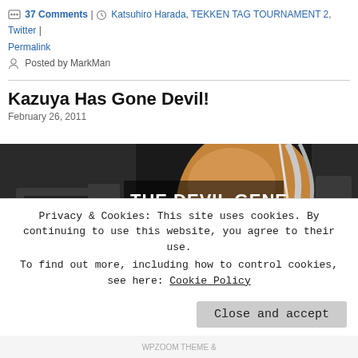37 Comments | Katsuhiro Harada, TEKKEN TAG TOURNAMENT 2, Twitter | Permalink
Posted by MarkMan
Kazuya Has Gone Devil!
February 26, 2011
[Figure (photo): Game screenshot showing a character (Kazuya) with text overlay 'THE DEVIL GENE' in white bold text on a dark background]
Privacy & Cookies: This site uses cookies. By continuing to use this website, you agree to their use.
To find out more, including how to control cookies, see here: Cookie Policy
Close and accept